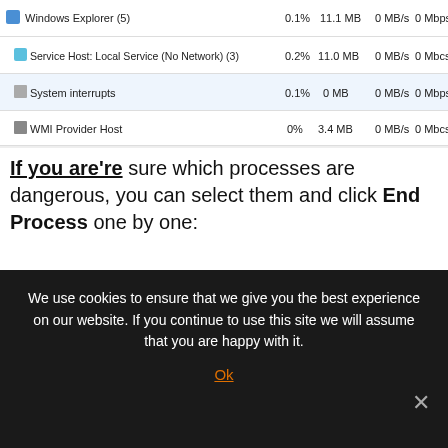[Figure (screenshot): Partial screenshot of Windows Task Manager or process list showing rows: Windows Explorer (5) 0.1% 11.1MB 0MB/s 0Mbps, Service Host: Local Service (No Network)(3) 0.2% 11.0MB 0MB/s 0Mbcs, System interrupts 0.1% 0MB 0MB/s 0Mbps, WMI Provider Host 0% 3.4MB 0MB/s 0Mbcs, and a partial row below.]
If you are're sure which processes are dangerous, you can select them and click End Process one by one:
[Figure (screenshot): Windows Task Manager screenshot showing Processes tab with columns Image Name, User Name, CPU, Memory. Rows visible: smss.exe SYSTEM 00 88, splwow64.exe Come o... 00 348, spoolsv.exe SYSTEM 00 712. A dark circular overlay arrow button is partially visible.]
We use cookies to ensure that we give you the best experience on our website. If you continue to use this site we will assume that you are happy with it.
Ok